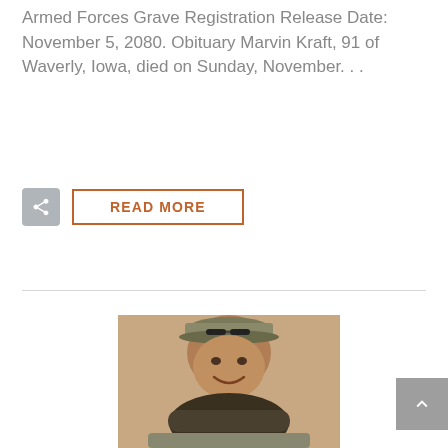Armed Forces Grave Registration Release Date: November 5, 2080. Obituary Marvin Kraft, 91 of Waverly, Iowa, died on Sunday, November. . .
[Figure (photo): A smiling man wearing a baseball cap with sunglasses resting on the brim, leaning forward with arms crossed on what appears to be a surface, photographed indoors against a neutral background.]